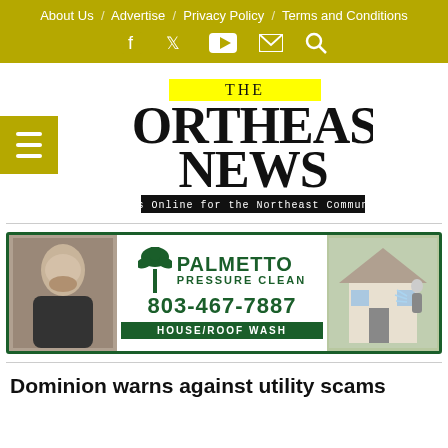About Us / Advertise / Privacy Policy / Terms and Conditions
[Figure (infographic): Navigation icons: Facebook, Twitter, YouTube, Email, Search on olive/yellow background]
[Figure (logo): The Northeast News - News Online for the Northeast Community logo with yellow highlight on THE]
[Figure (infographic): Palmetto Pressure Clean advertisement banner. 803-467-7887. House/Roof Wash. Green border, palm tree logo, photo of person on left, house being washed on right.]
Dominion warns against utility scams